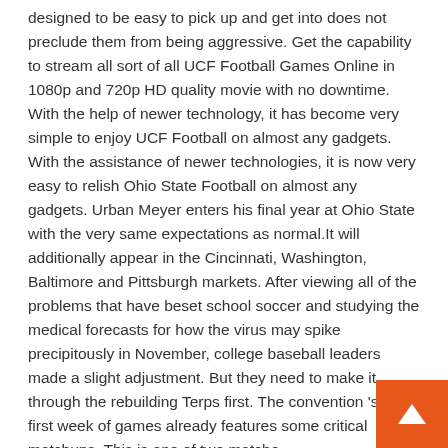designed to be easy to pick up and get into does not preclude them from being aggressive. Get the capability to stream all sort of all UCF Football Games Online in 1080p and 720p HD quality movie with no downtime. With the help of newer technology, it has become very simple to enjoy UCF Football on almost any gadgets. With the assistance of newer technologies, it is now very easy to relish Ohio State Football on almost any gadgets. Urban Meyer enters his final year at Ohio State with the very same expectations as normal.It will additionally appear in the Cincinnati, Washington, Baltimore and Pittsburgh markets. After viewing all of the problems that have beset school soccer and studying the medical forecasts for how the virus may spike precipitously in November, college baseball leaders made a slight adjustment. But they need to make it through the rebuilding Terps first. The convention 's very first week of games already features some critical matchups. This is one of two matche